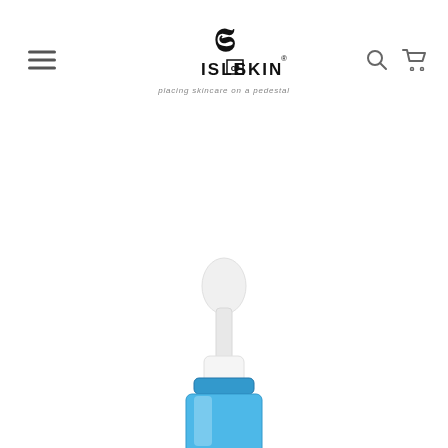[Figure (logo): Isle of Skin brand logo with icon, wordmark ISLE of SKIN with registered trademark symbol, and tagline 'placing skincare on a pedestal']
[Figure (photo): Top portion of a blue dropper bottle with white dropper cap, partially cropped at the bottom of the page]